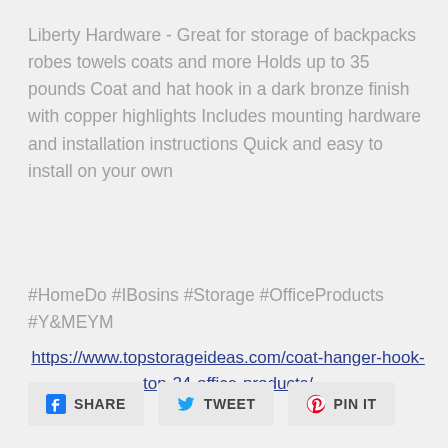Liberty Hardware - Great for storage of backpacks robes towels coats and more Holds up to 35 pounds Coat and hat hook in a dark bronze finish with copper highlights Includes mounting hardware and installation instructions Quick and easy to install on your own
#HomeDo #IBosins #Storage #OfficeProducts #Y&MEYM
https://www.topstorageideas.com/coat-hanger-hook-top-24-office-products/
SHARE  TWEET  PIN IT